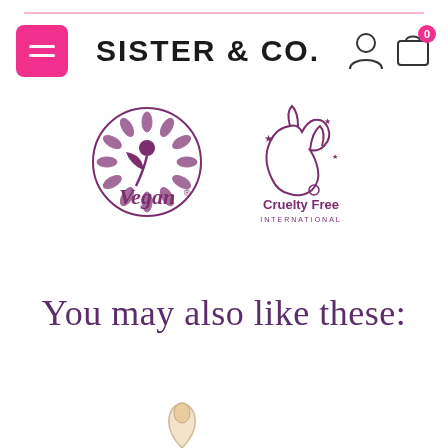SISTER & CO.
[Figure (logo): Vegan Society certification logo - circular with sunflower and leaf design, text 'Vegan']
[Figure (logo): Cruelty Free International leaping bunny logo with stars, text 'Cruelty Free INTERNATIONAL']
You may also like these: